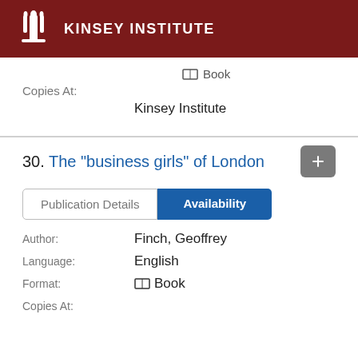KINSEY INSTITUTE
Book
Copies At:
Kinsey Institute
30. The "business girls" of London
Publication Details | Availability
Author:
Finch, Geoffrey
Language:
English
Format:
Book
Copies At: